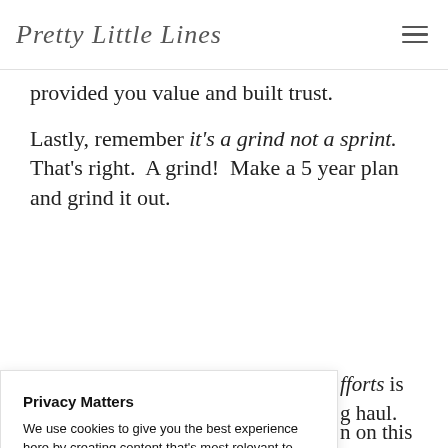Pretty Little Lines
provided you value and built trust.
Lastly, remember it's a grind not a sprint.  That's right.  A grind!  Make a 5 year plan and grind it out.
…efforts is …g haul.
Privacy Matters
We use cookies to give you the best experience here by creating content that's most relevant to you. We'll never share the info we collect. If your happy with your cookies, click "Accept All".
…n on this …t...and